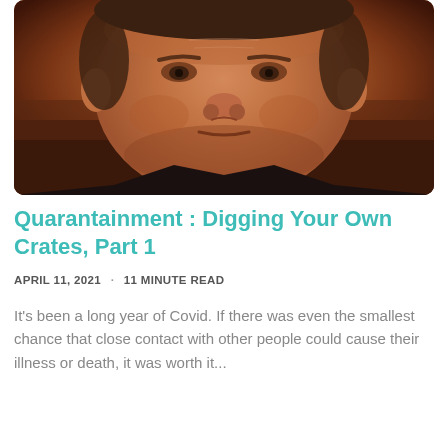[Figure (photo): Close-up portrait photo of an older man with a slight smile, against a brown/reddish background. The image is cropped to show mainly the face.]
Quarantainment : Digging Your Own Crates, Part 1
APRIL 11, 2021 · 11 MINUTE READ
It's been a long year of Covid. If there was even the smallest chance that close contact with other people could cause their illness or death, it was worth it...